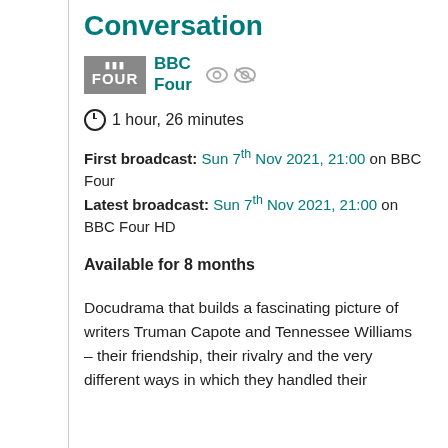Conversation
BBC Four
1 hour, 26 minutes
First broadcast: Sun 7th Nov 2021, 21:00 on BBC Four
Latest broadcast: Sun 7th Nov 2021, 21:00 on BBC Four HD
Available for 8 months
Docudrama that builds a fascinating picture of writers Truman Capote and Tennessee Williams – their friendship, their rivalry and the very different ways in which they handled their